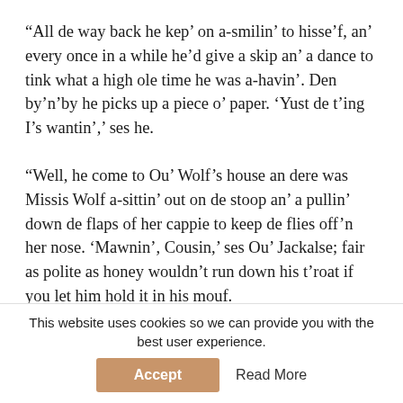“All de way back he kep’ on a-smilin’ to hisse’f, an’ every once in a while he’d give a skip an’ a dance to tink what a high ole time he was a-havin’. Den by’n’by he picks up a piece o’ paper. ‘Yust de t’ing I’s wantin’,’ ses he.
“Well, he come to Ou’ Wolf’s house an dere was Missis Wolf a-sittin’ out on de stoop an’ a pullin’ down de flaps of her cappie to keep de flies off’n her nose. ‘Mawnin’, Cousin,’ ses Ou’ Jackalse; fair as polite as honey wouldn’t run down his t’roat if you let him hold it in his mouf.
“‘Mawnin’,’ ses she, an’ she ain’t a-singin’ it out like a
This website uses cookies so we can provide you with the best user experience.